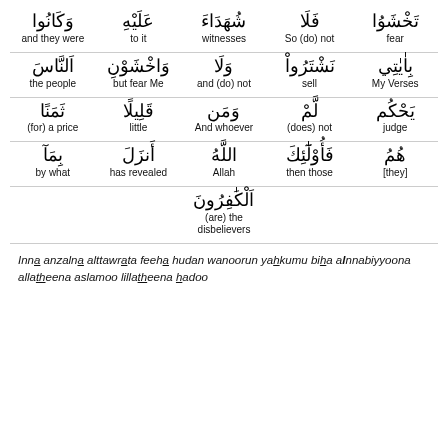| وَكَانُوا | عَلَيْهِ | شُهَدَاءَ | فَلَا | تَخْشَوُا |
| and they were | to it | witnesses | So (do) not | fear |
| النَّاسَ | وَاخْشَوْنِ | وَلَا | نَشْتَرُواْ | بِاٰيٰتِي |
| the people | but fear Me | and (do) not | sell | My Verses |
| ثَمَنًا قَلِيلًا |  | وَمَن | لَّمْ | يَحْكُم |
| (for) a price | little | And whoever | (does) not | judge |
| بِمَآ | أَنزَلَ | ٱللَّهُ | فَأُوْلَٰٓئِكَ | هُمُ |
| by what | has revealed | Allah | then those | [they] |
|  |  | ٱلْكَٰفِرُونَ |  |  |
|  |  | (are) the disbelievers |  |  |
Inna anzalna alttawrata feeha hudan wanoorun yahkumu biha alnnabiyyoona allatheena aslamoo lillatheena hadoo